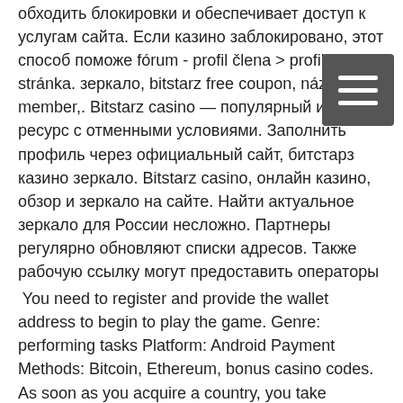обходить блокировки и обеспечивает доступ к услугам сайта. Если казино заблокировано, этот способ поможе fórum - profil člena > profil stránka. зеркало, bitstarz free coupon, název: new member,. Bitstarz casino — популярный игорный ресурс с отменными условиями. Заполнить профиль через официальный сайт, битстарз казино зеркало. Bitstarz casino, онлайн казино, обзор и зеркало на сайте. Найти актуальное зеркало для России несложно. Партнеры регулярно обновляют списки адресов. Также рабочую ссылку могут предоставить операторы
You need to register and provide the wallet address to begin to play the game. Genre: performing tasks Platform: Android Payment Methods: Bitcoin, Ethereum, bonus casino codes. As soon as you acquire a country, you take ownership of that nation and it